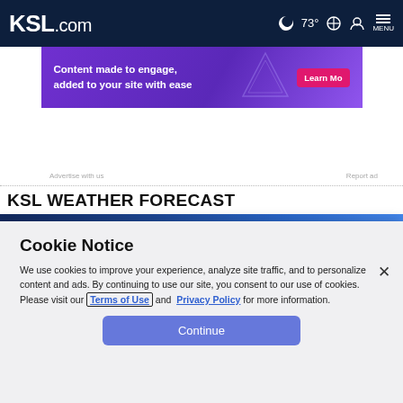KSL.com  ☽ 73°  🔍  👤  MENU
[Figure (screenshot): Purple advertisement banner: 'Content made to engage, added to your site with ease' with a pink 'Learn Mo' button]
Advertise with us    Report ad
KSL WEATHER FORECAST
[Figure (screenshot): Partial weather forecast image/photo strip in dark blue tones]
Cookie Notice
We use cookies to improve your experience, analyze site traffic, and to personalize content and ads. By continuing to use our site, you consent to our use of cookies. Please visit our Terms of Use and  Privacy Policy for more information.
[Figure (other): Continue button - blue rounded rectangle with white text 'Continue']